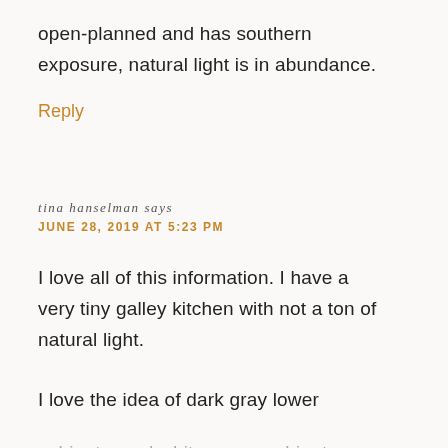open-planned and has southern exposure, natural light is in abundance.
Reply
tina hanselman says
JUNE 28, 2019 AT 5:23 PM
I love all of this information. I have a very tiny galley kitchen with not a ton of natural light.
I love the idea of dark gray lower cabinets, and white upper cabinets,